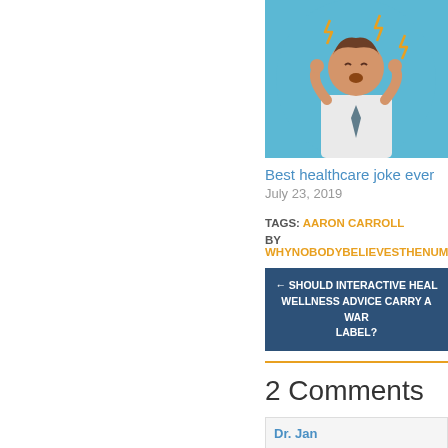[Figure (illustration): Cartoon illustration of a stressed businessman with hands on head, lightning bolts around him, on a blue circular background]
Best healthcare joke ever
July 23, 2019
TAGS: AARON CARROLL
BY WHYNOBODYBELIEVESTHENUMBE
← SHOULD INTERACTIVE HEAL WELLNESS ADVICE CARRY A WAR LABEL?
2 Comments
Dr. Jan